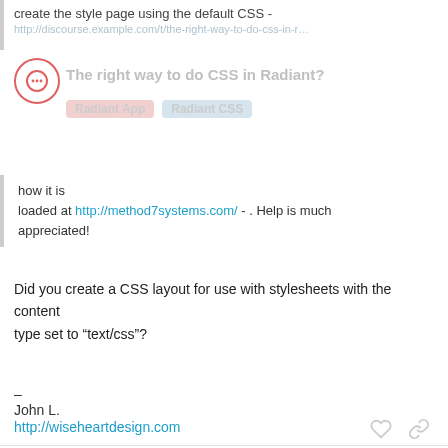create the style page using the default CSS -
The right way to do CSS in Radiant?
Radiant App  Radiant CSS
how it is loaded at http://method7systems.com/ - . Help is much appreciated!
Did you create a CSS layout for use with stylesheets with the content type set to “text/css”?
–
John L.
http://wiseheartdesign.com
nolic  Dec ’06
2 / 3